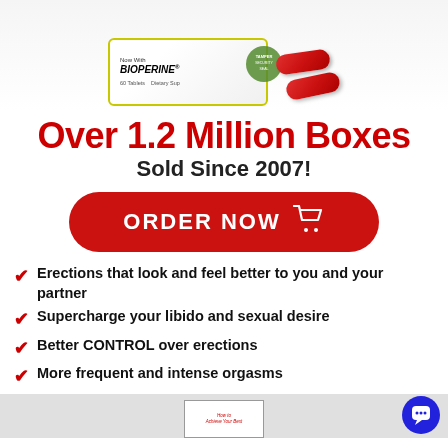[Figure (photo): Product box labeled 'Now With BIOPERINE' with 60 tablets and red capsule pills beside it]
Over 1.2 Million Boxes Sold Since 2007!
[Figure (other): Red rounded rectangle ORDER NOW button with shopping cart icon]
Erections that look and feel better to you and your partner
Supercharge your libido and sexual desire
Better CONTROL over erections
More frequent and intense orgasms
[Figure (photo): Book preview at bottom: 'How to Achieve Your Best']